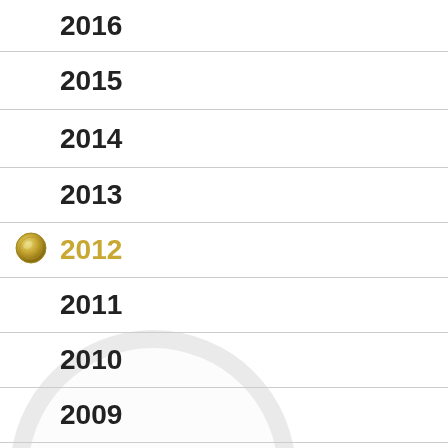2016
2015
2014
2013
2012
2011
2010
2009
2008